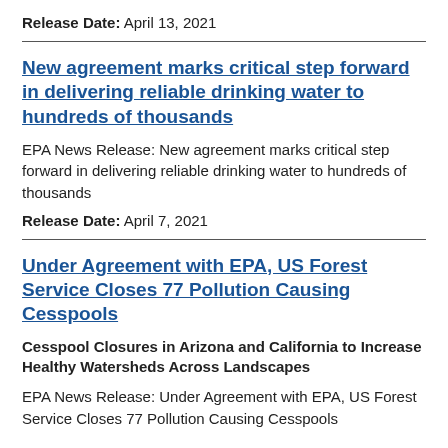Release Date: April 13, 2021
New agreement marks critical step forward in delivering reliable drinking water to hundreds of thousands
EPA News Release: New agreement marks critical step forward in delivering reliable drinking water to hundreds of thousands
Release Date: April 7, 2021
Under Agreement with EPA, US Forest Service Closes 77 Pollution Causing Cesspools
Cesspool Closures in Arizona and California to Increase Healthy Watersheds Across Landscapes
EPA News Release: Under Agreement with EPA, US Forest Service Closes 77 Pollution Causing Cesspools